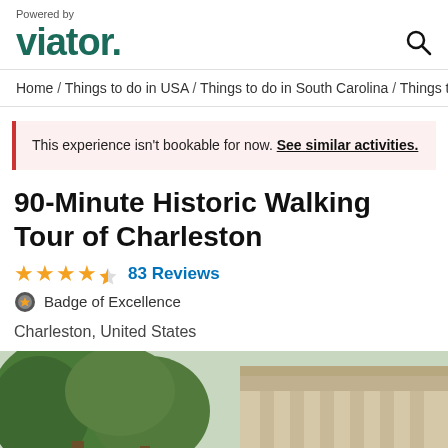Powered by viator
Home / Things to do in USA / Things to do in South Carolina / Things t
This experience isn't bookable for now. See similar activities.
90-Minute Historic Walking Tour of Charleston
★★★★½ 83 Reviews
Badge of Excellence
Charleston, United States
[Figure (photo): Exterior of a classical columned building (likely historic Charleston building) with green trees in background]